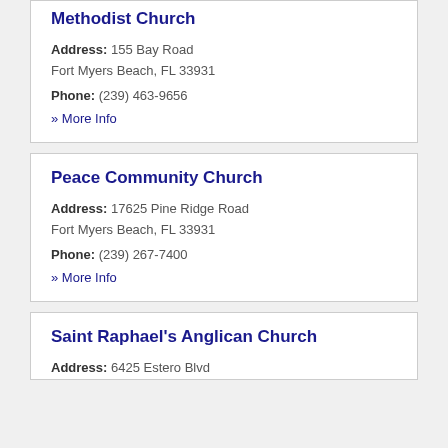Methodist Church
Address: 155 Bay Road
Fort Myers Beach, FL 33931
Phone: (239) 463-9656
» More Info
Peace Community Church
Address: 17625 Pine Ridge Road
Fort Myers Beach, FL 33931
Phone: (239) 267-7400
» More Info
Saint Raphael's Anglican Church
Address: 6425 Estero Blvd